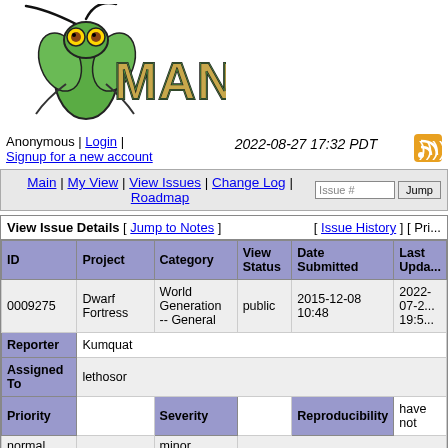[Figure (logo): Mantis Bug Tracker logo with praying mantis insect graphic and MANTIS text]
Anonymous | Login | Signup for a new account    2022-08-27 17:32 PDT
Main | My View | View Issues | Change Log | Roadmap  [Issue # input] [Jump button]
| View Issue Details [ Jump to Notes ] | [ Issue History ] [ Pri... |
| --- | --- |
| ID | Project | Category | View Status | Date Submitted | Last Upda... |
| 0009275 | Dwarf Fortress | World Generation -- General | public | 2015-12-08 10:48 | 2022-07-2... 19:5... |
| Reporter | Kumquat |  |  |  |  |
| Assigned To | lethosor |  |  |  |  |
| Priority | normal | Severity | minor | Reproducibility | have not |